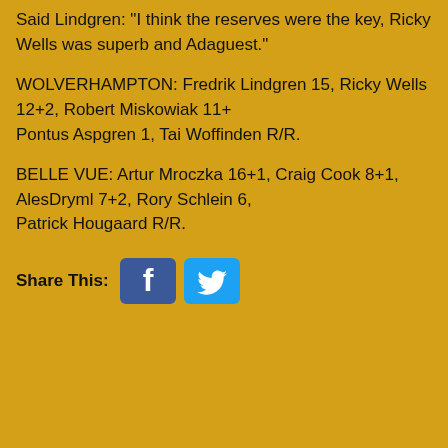Said Lindgren: "I think the reserves were the key, Ricky Wells was superb and Adam guest."
WOLVERHAMPTON: Fredrik Lindgren 15, Ricky Wells 12+2, Robert Miskowiak 11+ Pontus Aspgren 1, Tai Woffinden R/R.
BELLE VUE: Artur Mroczka 16+1, Craig Cook 8+1, AlesDryml 7+2, Rory Schlein 6, Patrick Hougaard R/R.
[Figure (logo): Share This: Facebook and Twitter social media icons]